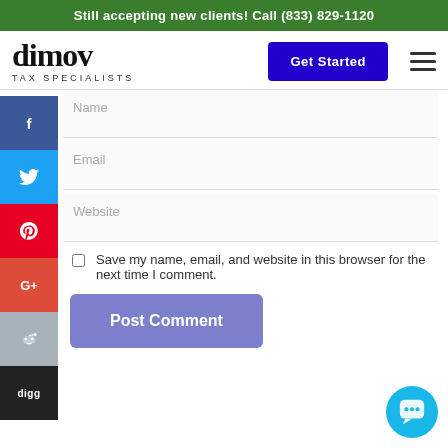Still accepting new clients! Call (833) 829-1120
[Figure (logo): Dimov Tax Specialists logo with Get Started button and hamburger menu]
Name
Email
Website
Save my name, email, and website in this browser for the next time I comment.
Post Comment